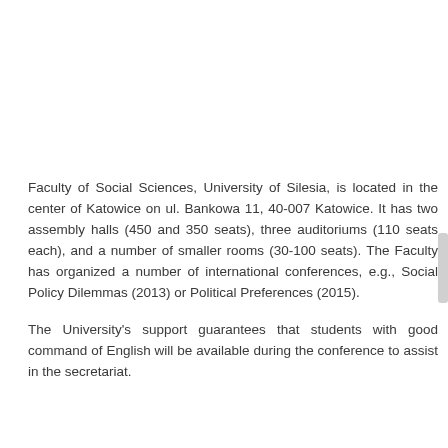Faculty of Social Sciences, University of Silesia, is located in the center of Katowice on ul. Bankowa 11, 40-007 Katowice. It has two assembly halls (450 and 350 seats), three auditoriums (110 seats each), and a number of smaller rooms (30-100 seats). The Faculty has organized a number of international conferences, e.g., Social Policy Dilemmas (2013) or Political Preferences (2015).
The University's support guarantees that students with good command of English will be available during the conference to assist in the secretariat.